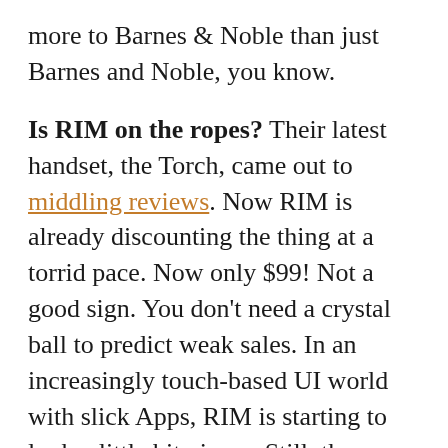more to Barnes & Noble than just Barnes and Noble, you know.
Is RIM on the ropes? Their latest handset, the Torch, came out to middling reviews. Now RIM is already discounting the thing at a torrid pace. Now only $99! Not a good sign. You don't need a crystal ball to predict weak sales. In an increasingly touch-based UI world with slick Apps, RIM is starting to look a little bit gimpy. Still, they are #1 in market share... but if their execution continues to falter, expect a new leader soon.
You love iPad, how about a low-cost, 7-inch version? Rumor today is that Apple will release a